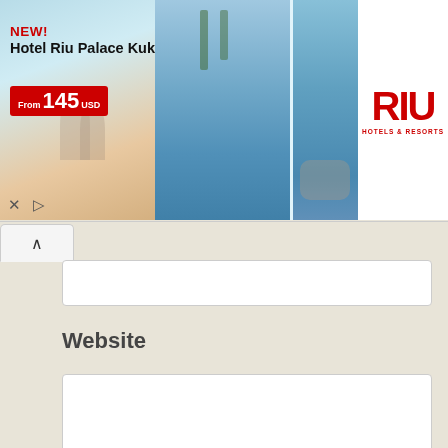[Figure (screenshot): RIU Hotels & Resorts advertisement banner. Left side shows 'NEW! Hotel Riu Palace Kukulkan' with price tag 'From 145 USD'. Middle shows hotel image with 'HOTEL RIU C... person/night From $143'. Right side shows RIU Hotels & Resorts red logo on white background.]
Website
Save my name, email, and website in this browser for the next time I comment.
Post Comment
This site uses Akismet to reduce spam. Learn how your